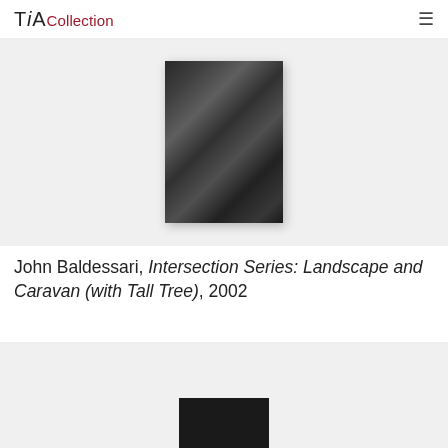TiA Collection
[Figure (photo): Black and white photograph centered on a light grey background, showing people in a landscape scene, displayed as a vertical print with dark tones]
John Baldessari, Intersection Series: Landscape and Caravan (with Tall Tree), 2002
[Figure (photo): Second artwork partially visible at bottom of page on light grey background, showing a dark rectangular form at bottom center]